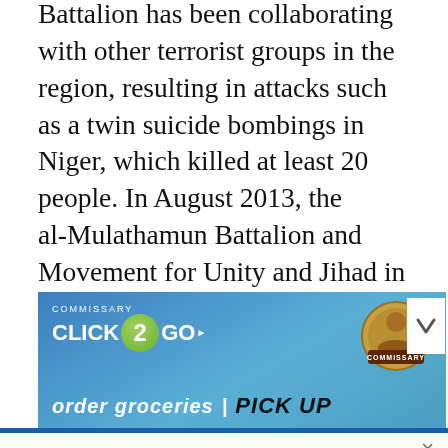Battalion has been collaborating with other terrorist groups in the region, resulting in attacks such as a twin suicide bombings in Niger, which killed at least 20 people. In August 2013, the al-Mulathamun Battalion and Movement for Unity and Jihad in West Africa announced that the two organizations would merge under the name “al-Murabitoun.”
[Figure (screenshot): Advertisement banner for Commissary Click2Go service with blue gradient background, Click2Go logo with green circle containing '2', Commissary badge logo, text 'order groceries' and partial 'PICK UP' text]
Articles left: 4
Subscribe to get unlimited access Subscribe
Already have an account? Login here